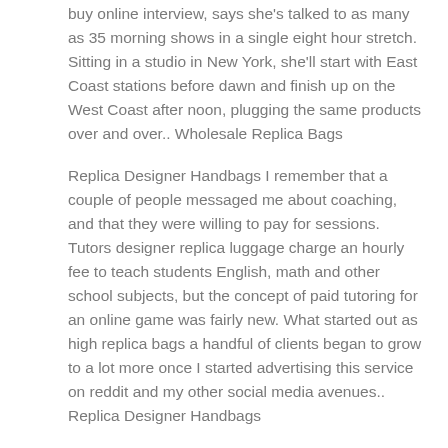buy online interview, says she's talked to as many as 35 morning shows in a single eight hour stretch. Sitting in a studio in New York, she'll start with East Coast stations before dawn and finish up on the West Coast after noon, plugging the same products over and over.. Wholesale Replica Bags
Replica Designer Handbags I remember that a couple of people messaged me about coaching, and that they were willing to pay for sessions. Tutors designer replica luggage charge an hourly fee to teach students English, math and other school subjects, but the concept of paid tutoring for an online game was fairly new. What started out as high replica bags a handful of clients began to grow to a lot more once I started advertising this service on reddit and my other social media avenues.. Replica Designer Handbags
replica handbags china What to make best replica Wholesale Replica Bags designer bags of the fact that Dr. Vini Khurana out of Australia and Dr. Keith Black out of Los Angeles, who are both